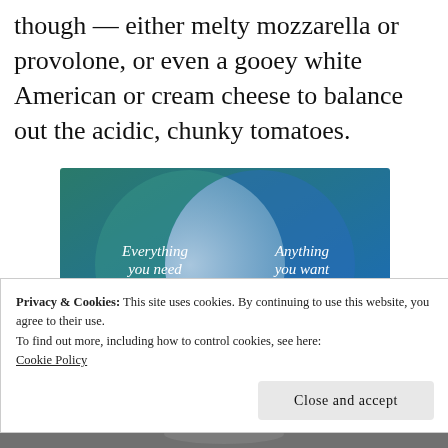though — either melty mozzarella or provolone, or even a gooey white American or cream cheese to balance out the acidic, chunky tomatoes.
[Figure (infographic): Venn diagram with two overlapping circles on a teal-to-blue gradient background. Left circle labeled 'Everything you need', right circle labeled 'Anything you want'. The overlapping lens region is lighter blue-white.]
Privacy & Cookies: This site uses cookies. By continuing to use this website, you agree to their use.
To find out more, including how to control cookies, see here:
Cookie Policy
[Figure (photo): Partial photo at bottom of page, appears to show food on a plate.]